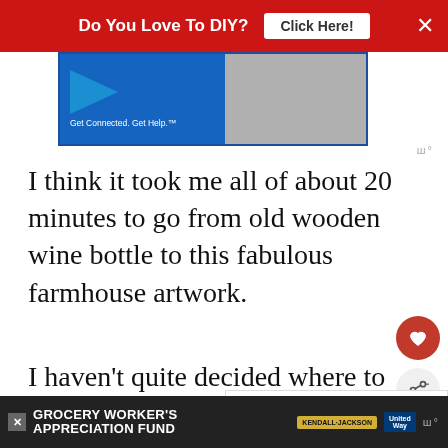[Figure (screenshot): Red advertisement banner at top: 'Do You Love To DIY? Click Here!' with X close button]
[Figure (screenshot): Middle advertisement image with blue background and 'Get Connected. Get Help.' text with person thumbnail]
I think it took me all of about 20 minutes to go from old wooden wine bottle to this fabulous farmhouse artwork.
I haven't quite decided where to put it yet, but whether I keep it propped up the subway tile or the pine server or hang it
[Figure (screenshot): WHAT'S NEXT panel with thumbnail: 'Let It Snow Cutting Board']
[Figure (screenshot): Bottom banner ad: GROCERY WORKER'S APPRECIATION FUND with Kendall-Jackson and United Way logos]